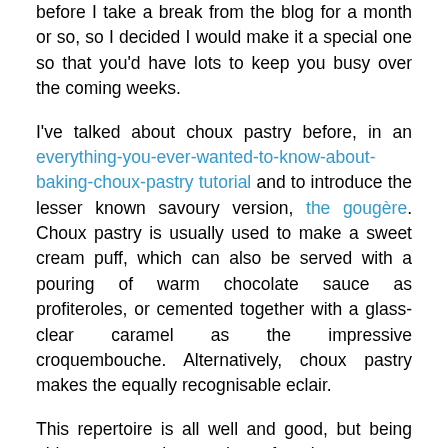before I take a break from the blog for a month or so, so I decided I would make it a special one so that you'd have lots to keep you busy over the coming weeks.
I've talked about choux pastry before, in an everything-you-ever-wanted-to-know-about-baking-choux-pastry tutorial and to introduce the lesser known savoury version, the gougère. Choux pastry is usually used to make a sweet cream puff, which can also be served with a pouring of warm chocolate sauce as profiteroles, or cemented together with a glass-clear caramel as the impressive croquembouche. Alternatively, choux pastry makes the equally recognisable eclair.
This repertoire is all well and good, but being able to count the number of recipes on one hand is surprisingly limited in terms of what may be created with choux pastry, when